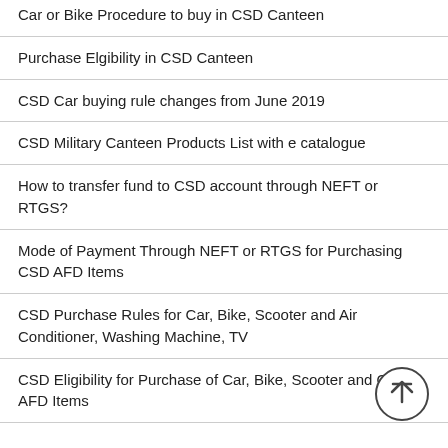Car or Bike Procedure to buy in CSD Canteen
Purchase Elgibility in CSD Canteen
CSD Car buying rule changes from June 2019
CSD Military Canteen Products List with e catalogue
How to transfer fund to CSD account through NEFT or RTGS?
Mode of Payment Through NEFT or RTGS for Purchasing CSD AFD Items
CSD Purchase Rules for Car, Bike, Scooter and Air Conditioner, Washing Machine, TV
CSD Eligibility for Purchase of Car, Bike, Scooter and Other AFD Items